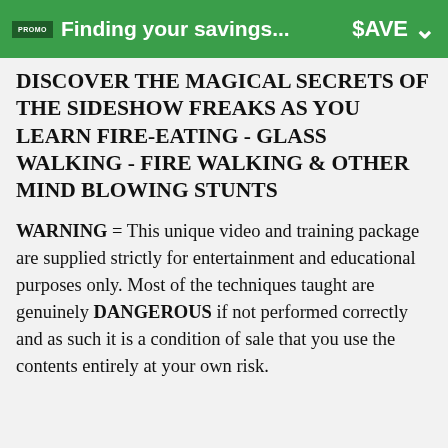Finding your savings... $AVE
DISCOVER THE MAGICAL SECRETS OF THE SIDESHOW FREAKS AS YOU LEARN FIRE-EATING - GLASS WALKING - FIRE WALKING & OTHER MIND BLOWING STUNTS
WARNING = This unique video and training package are supplied strictly for entertainment and educational purposes only. Most of the techniques taught are genuinely DANGEROUS if not performed correctly and as such it is a condition of sale that you use the contents entirely at your own risk.
[Figure (other): Blue Rewards button with gift icon overlay]
However, when you consider that Top Television Hypnotist Dr. Jonathan Royle was born into a